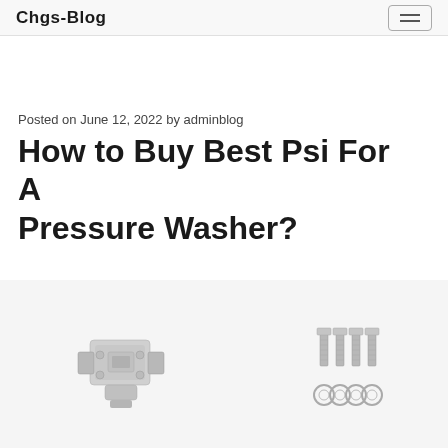Chgs-Blog
Posted on June 12, 2022 by adminblog
How to Buy Best Psi For A Pressure Washer?
[Figure (photo): Photo of pressure washer parts including a metal connector/coupling device on the left and four bolts/screws with four washers/nuts arranged in a grid pattern on the right, all on a white background]